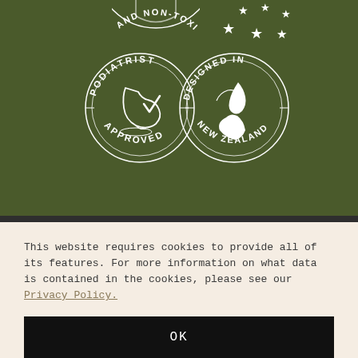[Figure (illustration): Dark olive green background section showing two circular badge/seal illustrations: left badge reads 'PODIATRIST APPROVED' with a foot/shoe illustration; right badge reads 'DESIGNED IN NEW ZEALAND' with a map of New Zealand. Top-left shows partial 'AND NON-TOXIC' badge. Top-right shows star cluster.]
This website requires cookies to provide all of its features. For more information on what data is contained in the cookies, please see our Privacy Policy.
OK